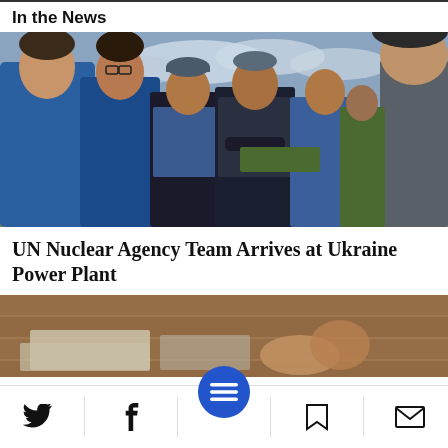In the News
[Figure (photo): Group of people in blue vests and jackets standing outdoors near a power plant, appearing to be international inspectors or officials in discussion.]
UN Nuclear Agency Team Arrives at Ukraine Power Plant
[Figure (photo): Partial view of a second news photo, partially obscured by navigation bar.]